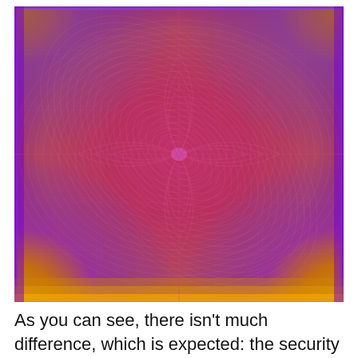[Figure (other): A complex mathematical visualization with intricate concentric elliptical and circular interference patterns. The image features a predominantly reddish-pink base with purple, orange, and yellow hues appearing at the edges and center. The pattern is symmetric both horizontally and vertically, with swirling lobed structures radiating from the center, creating a flower-like or moiré pattern appearance. This likely represents a visualization related to RSA cryptographic key structure or modular arithmetic.]
As you can see, there isn't much difference, which is expected: the security of 1024-bit RSA